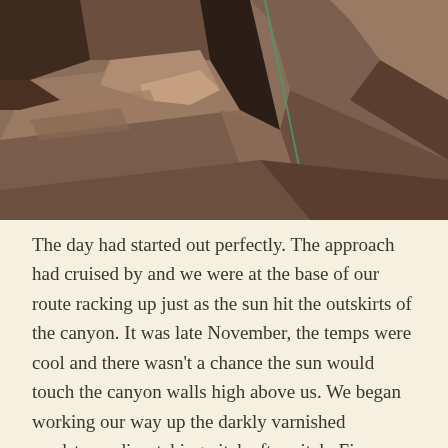[Figure (photo): Close-up photograph of layered reddish-brown sandstone rock formations in a canyon, with a thin green climbing rope visible running diagonally across the rocks.]
The day had started out perfectly. The approach had cruised by and we were at the base of our route racking up just as the sun hit the outskirts of the canyon. It was late November, the temps were cool and there wasn't a chance the sun would touch the canyon walls high above us. We began working our way up the darkly varnished sandstone, dispatching pitch after pitch. Five pitches later , I found myself perched ten feet above my last bolt with a thin section